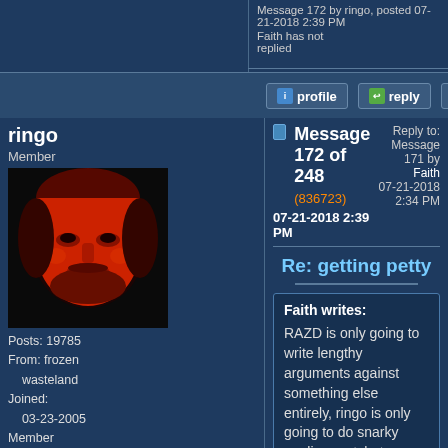Message 172 by ringo, posted 07-21-2018 2:39 PM
Faith has not replied
profile   reply   peek
ringo
Member
Message 172 of 248 (836723)
07-21-2018 2:39 PM
Reply to: Message 171 by Faith
07-21-2018 2:34 PM
Re: getting petty
Faith writes:
RAZD is only going to write lengthy arguments against something else entirely, ringo is only going to do snarky oneliner potshots, Tanypteryx is famous for his knownothing "Me Too" attitude"....
And Faith is going to cling fanatically to anything that she thinks supports her preconceived notions - whether she understands them or not.
And our geese will blot out the sun.
Posts: 19785
From: frozen wasteland
Joined: 03-23-2005
Member Rating: 2.8
ringo Posts Only